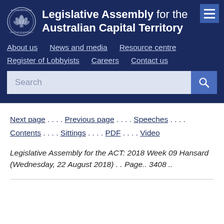Legislative Assembly for the Australian Capital Territory
About us . News and media . Resource centre . Register of Lobbyists . Careers . Contact us
Next page . . . . Previous page . . . . Speeches . . . . Contents . . . . Sittings . . . . PDF . . . . Video
Legislative Assembly for the ACT: 2018 Week 09 Hansard (Wednesday, 22 August 2018) . . Page.. 3408 ..